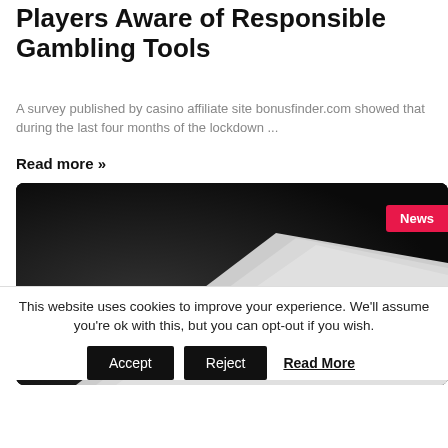Players Aware of Responsible Gambling Tools
A survey published by casino affiliate site bonusfinder.com showed that during the last four months of the lockdown …
Read more »
[Figure (photo): Dark background with a white card/paper object featuring embossed letter shapes, with a red 'News' badge in the top-right corner]
This website uses cookies to improve your experience. We'll assume you're ok with this, but you can opt-out if you wish.
Accept  Reject  Read More